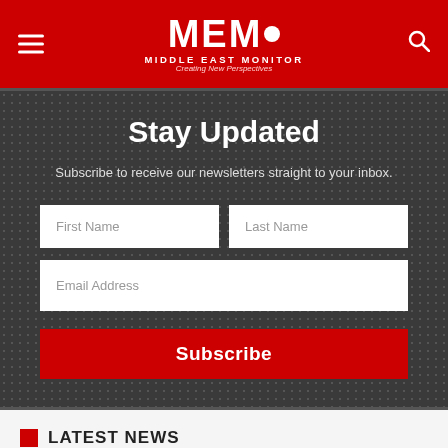MEMO Middle East Monitor — Creating New Perspectives
Stay Updated
Subscribe to receive our newsletters straight to your inbox.
LATEST NEWS